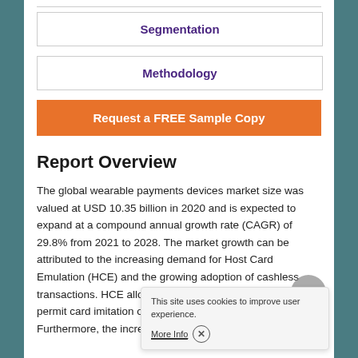Segmentation
Methodology
Request a FREE Sample Copy
Report Overview
The global wearable payments devices market size was valued at USD 10.35 billion in 2020 and is expected to expand at a compound annual growth rate (CAGR) of 29.8% from 2021 to 2028. The market growth can be attributed to the increasing demand for Host Card Emulation (HCE) and the growing adoption of cashless transactions. HCE allows mobile or wearable devices to permit card imitation on NFC depending on access to an a Furthermore, the increasing
This site uses cookies to improve user experience. More Info